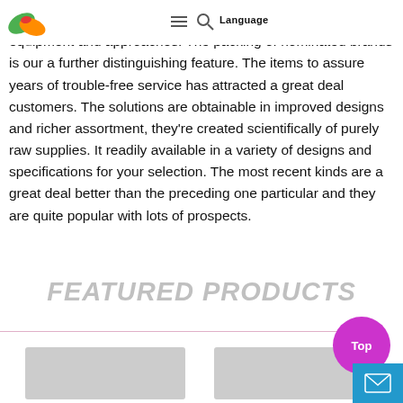Language
at any expense to achieve essentially the most up-to-date equipment and approaches. The packing of nominated brands is our a further distinguishing feature. The items to assure years of trouble-free service has attracted a great deal customers. The solutions are obtainable in improved designs and richer assortment, they're created scientifically of purely raw supplies. It readily available in a variety of designs and specifications for your selection. The most recent kinds are a great deal better than the preceding one particular and they are quite popular with lots of prospects.
FEATURED PRODUCTS
[Figure (other): Two product thumbnail images at the bottom of the page]
[Figure (other): Top button (magenta circle) and mail button (blue rectangle)]